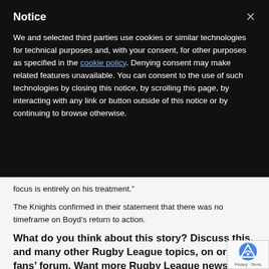Notice
We and selected third parties use cookies or similar technologies for technical purposes and, with your consent, for other purposes as specified in the cookie policy. Denying consent may make related features unavailable. You can consent to the use of such technologies by closing this notice, by scrolling this page, by interacting with any link or button outside of this notice or by continuing to browse otherwise.
focus is entirely on his treatment.”
The Knights confirmed in their statement that there was no timeframe on Boyd’s return to action.
What do you think about this story? Discuss this, and many other Rugby League topics, on or free fans’ forum. Want more Rugby League news features? Subscribe to the online version of League Express newspaper and Rugby League World magazine. You can also connect with Tot…